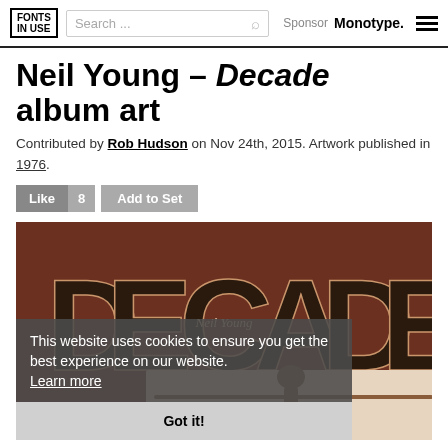FONTS IN USE | Search ... | Sponsor Monotype. ☰
Neil Young – Decade album art
Contributed by Rob Hudson on Nov 24th, 2015. Artwork published in 1976.
Like 8  Add to Set
[Figure (photo): Album cover of Neil Young's 'Decade' showing large decorative letters spelling DECADE on a brown/dark background, with a person standing with arms outstretched below, and 'Neil Young' written in script in the center.]
This website uses cookies to ensure you get the best experience on our website. Learn more
Got it!